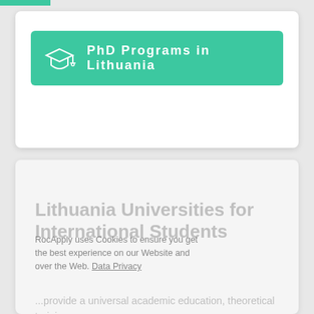[Figure (screenshot): Green banner with graduation cap icon and text 'PhD Programs in Lithuania']
Lithuania Universities for International Students
RocApply uses Cookies to ensure you get the best experience on our Website and over the Web. Data Privacy
...provide a universal academic education, theoretical training and the highest level of professional excellence. Lithuania has one of the fastest growing economies of the Baltic countries over the last two decades
Got it!    Alright!